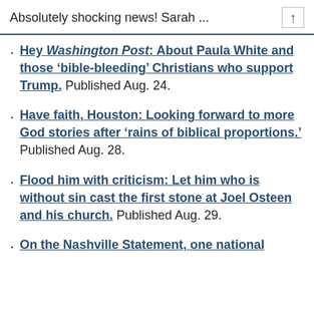Absolutely shocking news! Sarah ...
Hey Washington Post: About Paula White and those ‘bible-bleeding’ Christians who support Trump. Published Aug. 24.
Have faith, Houston: Looking forward to more God stories after ‘rains of biblical proportions.’ Published Aug. 28.
Flood him with criticism: Let him who is without sin cast the first stone at Joel Osteen and his church. Published Aug. 29.
On the Nashville Statement, one national